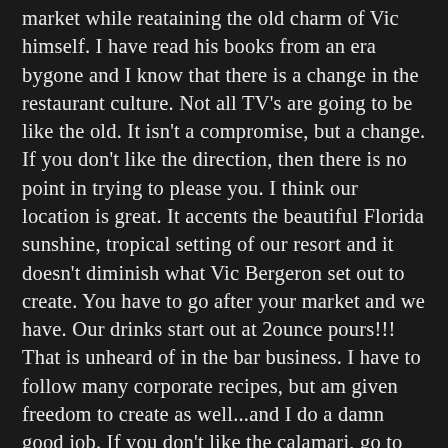market while reataining the old charm of Vic himself. I have read his books from an era bygone and I know that there is a change in the restaurant culture. Not all TV's are going to be like the old. It isn't a compromise, but a change. If you don't like the direction, then there is no point in trying to please you. I think our location is great. It accents the beautiful Florida sunshine, tropical setting of our resort and it doesn't diminish what Vic Bergeron set out to create. You have to go after your market and we have. Our drinks start out at 2ounce pours!!! That is unheard of in the bar business. I have to follow many corporate recipes, but am given freedom to create as well...and I do a damn good job. If you don't like the calamari, go to Vic's grave and tell him...It is his recipe. The Bongo Bongo soup, his recipe. Are we going to change these because you don't like it? No because it is part of the culture. I think it is short sighted to think that